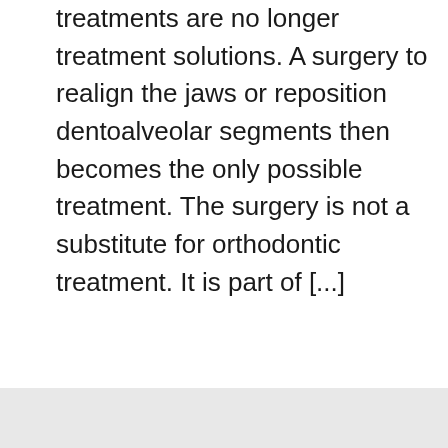treatments are no longer treatment solutions. A surgery to realign the jaws or reposition dentoalveolar segments then becomes the only possible treatment. The surgery is not a substitute for orthodontic treatment. It is part of [...]
Lire la suite »
4 commentaires